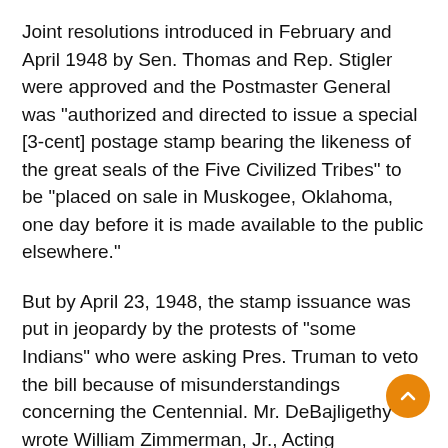Joint resolutions introduced in February and April 1948 by Sen. Thomas and Rep. Stigler were approved and the Postmaster General was "authorized and directed to issue a special [3-cent] postage stamp bearing the likeness of the great seals of the Five Civilized Tribes" to be "placed on sale in Muskogee, Oklahoma, one day before it is made available to the public elsewhere."
But by April 23, 1948, the stamp issuance was put in jeopardy by the protests of "some Indians" who were asking Pres. Truman to veto the bill because of misunderstandings concerning the Centennial. Mr. DeBajligethy wrote William Zimmerman, Jr., Acting Commissioner of the Office of Indian Affairs, begging him to intercede with the President. The Centennial and stamp were not meant to celebrate the tragic relocation of the Native Americans but to honor "their remarkable progress and achievements."